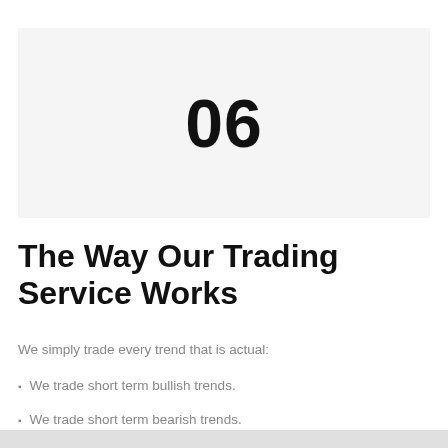[Figure (other): Light gray banner with large bold number '06' centered]
The Way Our Trading Service Works
We simply trade every trend that is actual:
We trade short term bullish trends.
We trade short term bearish trends.